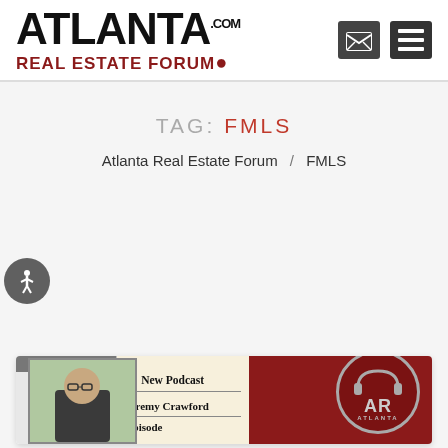Atlanta Real Estate Forum — Navigation header with logo and menu icons
TAG: FMLS
Atlanta Real Estate Forum / FMLS
[Figure (screenshot): Podcast card thumbnail showing a man in glasses, a notepad graphic with 'New Podcast', 'Jeremy Crawford', 'Episode', and the Atlanta Real Estate Forum AR logo on dark red background]